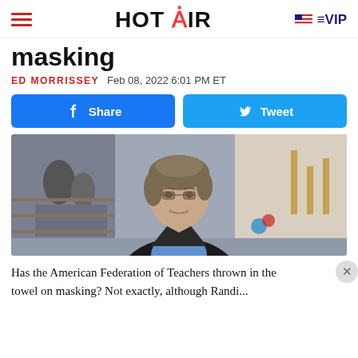HOT AIR | VIP
masking
ED MORRISSEY   Feb 08, 2022 6:01 PM ET
[Figure (other): Facebook Share button and Twitter Tweet button, side by side, blue rounded rectangles]
[Figure (photo): Woman with short gray-brown hair in a black blazer and blue shirt being interviewed on a TV news set with an NBC peacock logo visible in background]
Has the American Federation of Teachers thrown in the towel on masking? Not exactly, although Randi...